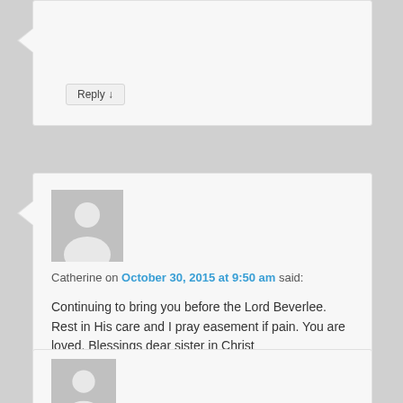Reply ↓
Catherine on October 30, 2015 at 9:50 am said:
Continuing to bring you before the Lord Beverlee. Rest in His care and I pray easement if pain. You are loved. Blessings dear sister in Christ
Reply ↓
[Figure (illustration): Generic user avatar placeholder (gray silhouette on gray background)]